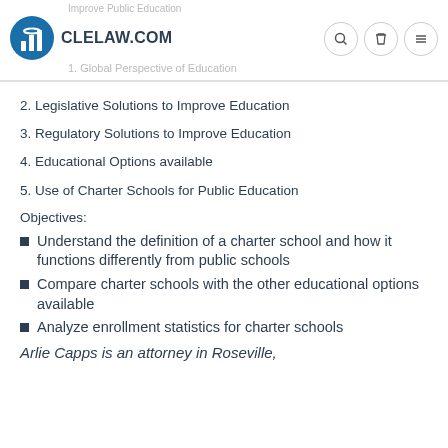CLELAW.COM
2. Legislative Solutions to Improve Education
3. Regulatory Solutions to Improve Education
4. Educational Options available
5. Use of Charter Schools for Public Education
Objectives:
Understand the definition of a charter school and how it functions differently from public schools
Compare charter schools with the other educational options available
Analyze enrollment statistics for charter schools
Arlie Capps is an attorney in Roseville,